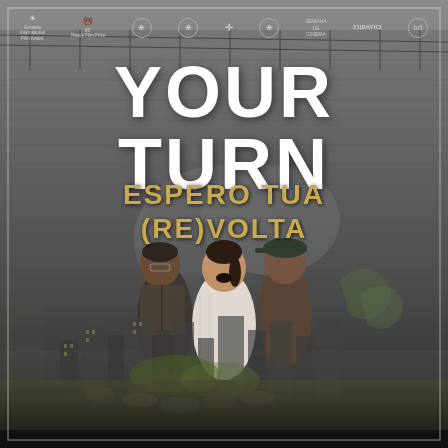[Figure (illustration): Movie poster for 'Your Turn / Espero Tua (Re)Volta' — a Brazilian documentary. Dark gritty background of a concrete wall with graffiti. Three youth protesters in the center foreground, mouths open in shout/chant. Lower portion shows a cityscape collage with apartment buildings and students sitting outdoors. Top strip shows multiple film festival award laurels including Amnesty International Film Award, 69th Berlinale Peace Film Prize, and others.]
YOUR TURN
ESPERO TUA (RE)VOLTA